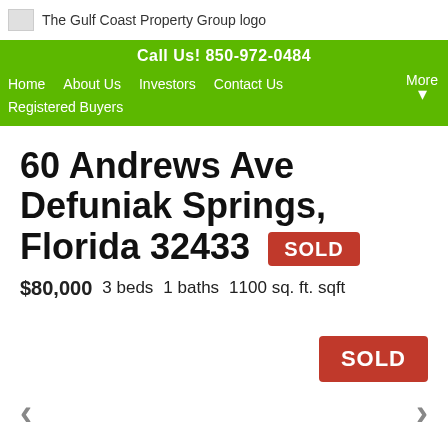The Gulf Coast Property Group logo
Call Us! 850-972-0484
Home   About Us   Investors   Contact Us   More   Registered Buyers
60 Andrews Ave Defuniak Springs, Florida 32433 SOLD
$80,000   3 beds   1 baths   1100 sq. ft. sqft
SOLD